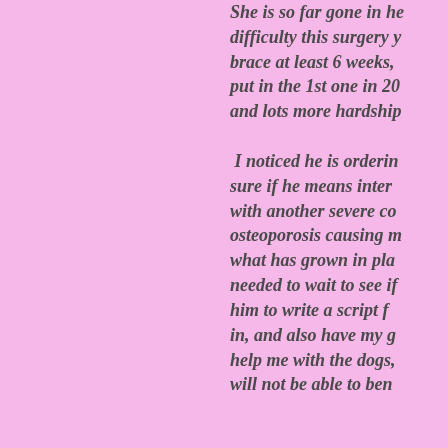She is so far gone in her difficulty this surgery... brace at least 6 weeks, put in the 1st one in 20... and lots more hardship... I noticed he is ordering... sure if he means inter... with another severe co... osteoporosis causing m... what has grown in pla... needed to wait to see if... him to write a script f... in, and also have my g... help me with the dogs, will not be able to ben...